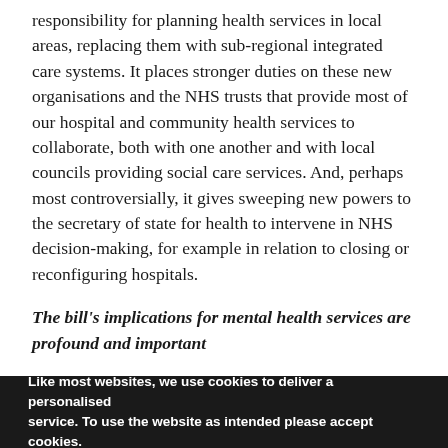responsibility for planning health services in local areas, replacing them with sub-regional integrated care systems. It places stronger duties on these new organisations and the NHS trusts that provide most of our hospital and community health services to collaborate, both with one another and with local councils providing social care services. And, perhaps most controversially, it gives sweeping new powers to the secretary of state for health to intervene in NHS decision-making, for example in relation to closing or reconfiguring hospitals.
The bill's implications for mental health services are profound and important
There is very little in the bill specifically about mental health services. Reforms to the Mental Health Act will
Like most websites, we use cookies to deliver a personalised service. To use the website as intended please accept cookies.